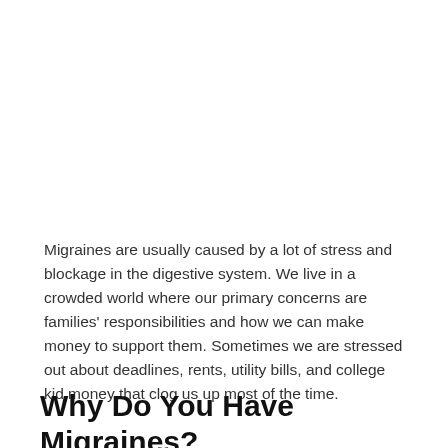Migraines are usually caused by a lot of stress and blockage in the digestive system. We live in a crowded world where our primary concerns are families' responsibilities and how we can make money to support them. Sometimes we are stressed out about deadlines, rents, utility bills, and college kid money that clog us up most of the time.
Why Do You Have Migraines?